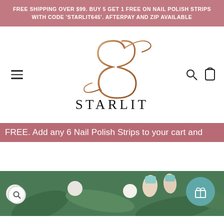FREE SHIPPING OVER $99. BUY 5 GET 1 FREE ON NAIL POLISH STRIPS WITH CODE 'STARLIT645'. AFTERPAY AND ZIP AVAILABLE
[Figure (logo): Starlit brand logo with stylized cursive S and the word STARLIT in uppercase serif letters]
FREE. Add any 6 Nail Polish Strips to your cart and
[Figure (photo): Close-up of nail polish strips on fingers with flowers and green leaves background, with a teal gift reward button and a search magnifying glass icon]